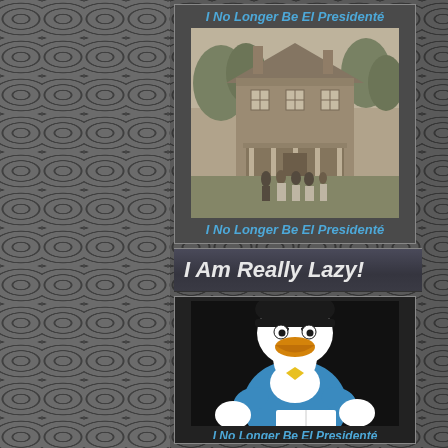I No Longer Be El President&eacute;
[Figure (photo): Old black and white photograph of a large two-story farmhouse with a group of people standing in front of it, surrounded by trees]
I No Longer Be El President&eacute;
I Am Really Lazy!
[Figure (illustration): Cartoon illustration of Donald Duck looking frustrated or embarrassed, wearing his signature blue sailor outfit, against a black background]
I No Longer Be El President&eacute;